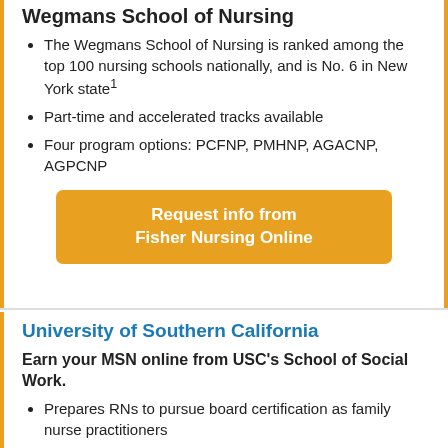Wegmans School of Nursing
The Wegmans School of Nursing is ranked among the top 100 nursing schools nationally, and is No. 6 in New York state¹
Part-time and accelerated tracks available
Four program options: PCFNP, PMHNP, AGACNP, AGPCNP
[Figure (other): Orange button reading 'Request info from Fisher Nursing Online']
University of Southern California
Earn your MSN online from USC's School of Social Work.
Prepares RNs to pursue board certification as family nurse practitioners
Earn a CCNE-accredited MSN in as few as 21 months